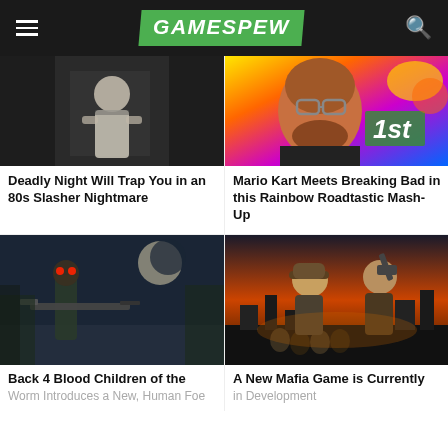GAMESPEW
[Figure (photo): Dark horror game screenshot showing a figure in white straitjacket in a dim room]
Deadly Night Will Trap You in an 80s Slasher Nightmare
[Figure (photo): Man with beard and glasses looking intense, Mario Kart Rainbow Road background]
Mario Kart Meets Breaking Bad in this Rainbow Roadtastic Mash-Up
[Figure (photo): Back 4 Blood game screenshot showing a zombie-like figure with red eyes holding a rifle at night]
Back 4 Blood Children of the
Worm Introduces a New, Human Foe
[Figure (photo): Mafia game artwork showing retro-styled gangsters with guns in front of a city skyline]
A New Mafia Game is Currently
in Development